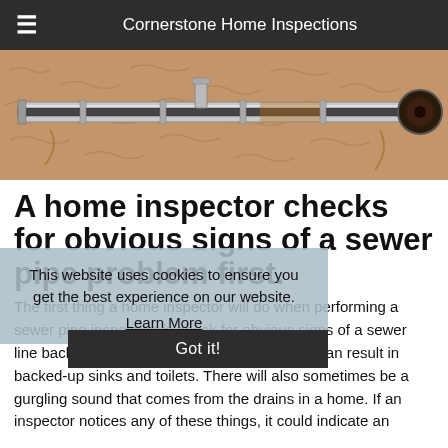Cornerstone Home Inspections
[Figure (illustration): Cross-section engineering illustration of a sewer pipe buried underground showing pipe internals and root intrusion]
A home inspector checks for obvious signs of a sewer pipe problem first.
This website uses cookies to ensure you get the best experience on our website.
Learn More
Got it!
The first thing a home inspector will do when performing a sewer pipe inspection is check for obvious signs of a sewer line backup. When a sewer pipe is clogged, it can result in backed-up sinks and toilets. There will also sometimes be a gurgling sound that comes from the drains in a home. If an inspector notices any of these things, it could indicate an